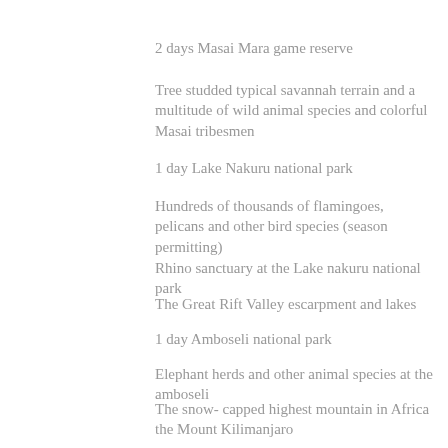2 days Masai Mara game reserve
Tree studded typical savannah terrain and a multitude of wild animal species and colorful Masai tribesmen
1 day Lake Nakuru national park
Hundreds of thousands of flamingoes, pelicans and other bird species (season permitting)
Rhino sanctuary at the Lake nakuru national park
The Great Rift Valley escarpment and lakes
1 day Amboseli national park
Elephant herds and other animal species at the amboseli
The snow- capped highest mountain in Africa the Mount Kilimanjaro
1 day Tsavo east national park
Scenic hills and valleys, awesome scenery, the Mzima springs, birds and animals
Option of Masai village visit at Masai Mara (your safari driver guide shall arrange for this)
Optional hot air balloon excursion at Masai Mara-book as